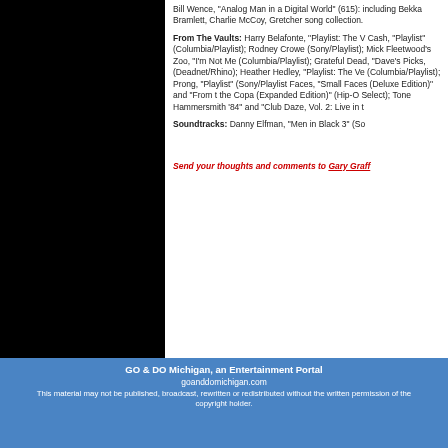[Figure (photo): Black image/photo on the left side of the page]
Bill Wence, "Analog Man in a Digital World" (615): including Bekka Bramlett, Charlie McCoy, Gretchen song collection.
From The Vaults: Harry Belafonte, "Playlist: The V Cash, "Playlist" (Columbia/Playlist); Rodney Crowe (Sony/Playlist); Mick Fleetwood's Zoo, "I'm Not Me (Columbia/Playlist); Grateful Dead, "Dave's Picks, (Deadnet/Rhino); Heather Hedley, "Playlist: The Ve (Columbia/Playlist); Prong, "Playlist" (Sony/Playlist Faces, "Small Faces (Deluxe Edition)" and "From t the Copa (Expanded Edition)" (Hip-O Select); Tone Hammersmith '84" and "Club Daze, Vol. 2: Live in t
Soundtracks: Danny Elfman, "Men in Black 3" (So
Send your thoughts and comments to Gary Graff
GO & DO Michigan, an Entertainment Portal
goanddomichigan.com
This material may not be published, broadcast, rewritten or redistributed without the written permission of the copyright holder.
© Copyright 2022 MediaNews Group, Inc. | Terms of Use | Privacy Policy | Cookie Policy | Arbitration